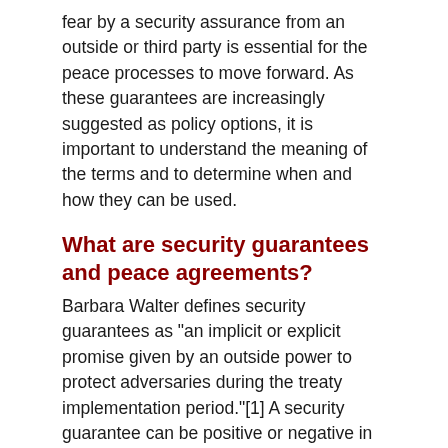fear by a security assurance from an outside or third party is essential for the peace processes to move forward. As these guarantees are increasingly suggested as policy options, it is important to understand the meaning of the terms and to determine when and how they can be used.
What are security guarantees and peace agreements?
Barbara Walter defines security guarantees as "an implicit or explicit promise given by an outside power to protect adversaries during the treaty implementation period."[1] A security guarantee can be positive or negative in nature, containing either an obligation to provide assistance or a promise to not use specific weapons or other destructive instruments.
Why security assurances are necessary